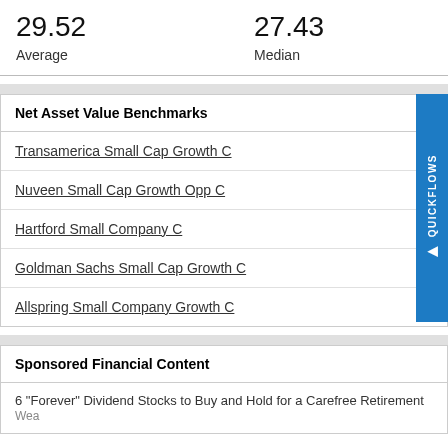29.52
Average
27.43
Median
Net Asset Value Benchmarks
Transamerica Small Cap Growth C
Nuveen Small Cap Growth Opp C
Hartford Small Company C
Goldman Sachs Small Cap Growth C
Allspring Small Company Growth C
Sponsored Financial Content
6 "Forever" Dividend Stocks to Buy and Hold for a Carefree Retirement  Wea...